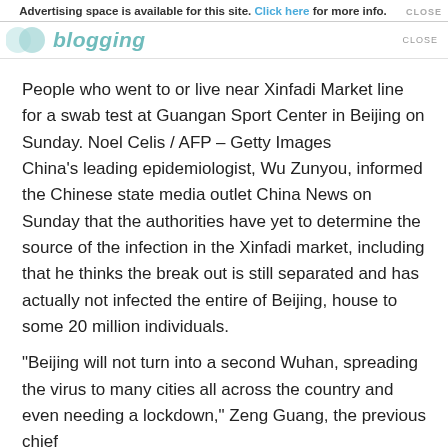Advertising space is available for this site. Click here for more info.
[Figure (logo): OO blogging logo with teal circular icons and italic teal 'blogging' text]
People who went to or live near Xinfadi Market line for a swab test at Guangan Sport Center in Beijing on Sunday. Noel Celis / AFP – Getty Images
China's leading epidemiologist, Wu Zunyou, informed the Chinese state media outlet China News on Sunday that the authorities have yet to determine the source of the infection in the Xinfadi market, including that he thinks the break out is still separated and has actually not infected the entire of Beijing, house to some 20 million individuals.
“Beijing will not turn into a second Wuhan, spreading the virus to many cities all across the country and even needing a lockdown,” Zeng Guang, the previous chief